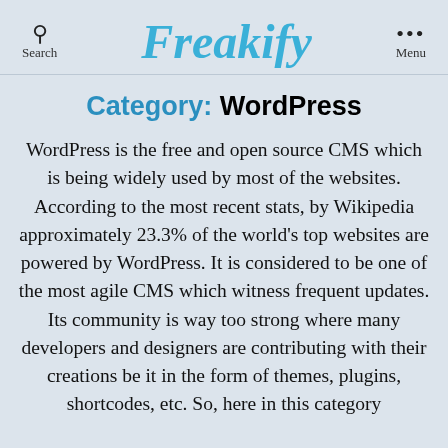Search | Freakify | Menu
Category: WordPress
WordPress is the free and open source CMS which is being widely used by most of the websites. According to the most recent stats, by Wikipedia approximately 23.3% of the world's top websites are powered by WordPress. It is considered to be one of the most agile CMS which witness frequent updates. Its community is way too strong where many developers and designers are contributing with their creations be it in the form of themes, plugins, shortcodes, etc. So, here in this category